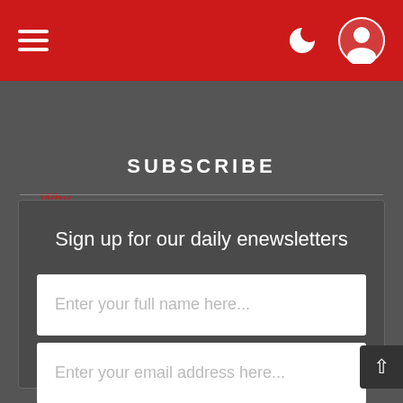Navigation bar with hamburger menu and user icons
Why advertise with us?
SUBSCRIBE
Sign up for our daily enewsletters
Enter your full name here...
Enter your email address here...
SUBSCRIBE